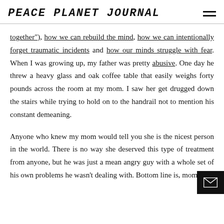PEACE PLANET JOURNAL
together"), how we can rebuild the mind, how we can intentionally forget traumatic incidents and how our minds struggle with fear. When I was growing up, my father was pretty abusive. One day he threw a heavy glass and oak coffee table that easily weighs forty pounds across the room at my mom. I saw her get drugged down the stairs while trying to hold on to the handrail not to mention his constant demeaning.
Anyone who knew my mom would tell you she is the nicest person in the world. There is no way she deserved this type of treatment from anyone, but he was just a mean angry guy with a whole set of his own problems he wasn't dealing with. Bottom line is, mom